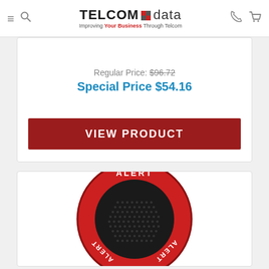TELCOM data — Improving Your Business Through Telcom
Regular Price: $96.72
Special Price $54.16
VIEW PRODUCT
[Figure (photo): Red circular ALERT speaker device with speaker grille and 'ALERT' text around the rim]